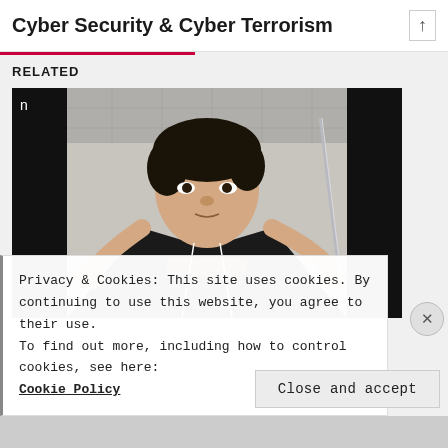Cyber Security & Cyber Terrorism
RELATED
[Figure (photo): Screenshot of a video showing a young man holding a thin metallic rod or antenna, speaking to the camera. The room has a white ceiling with panels. A small letter 'n' appears in the upper left corner of the video frame.]
Privacy & Cookies: This site uses cookies. By continuing to use this website, you agree to their use.
To find out more, including how to control cookies, see here:
Cookie Policy
Close and accept